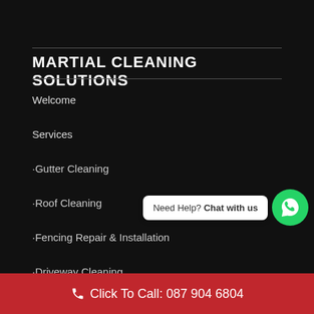MARTIAL CLEANING SOLUTIONS
Welcome
Services
·Gutter Cleaning
·Roof Cleaning
·Fencing Repair & Installation
·Driveway Cleaning
[Figure (other): WhatsApp chat widget with green circular button and speech bubble saying 'Need Help? Chat with us']
Click To Call: 087 904 6804